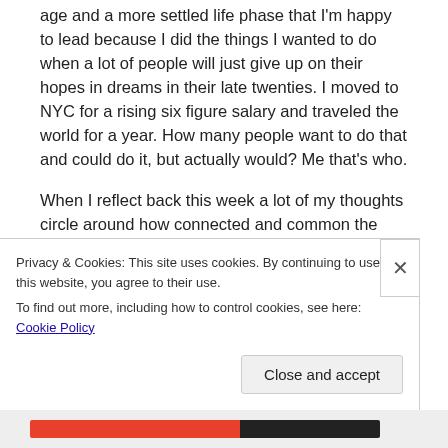age and a more settled life phase that I'm happy to lead because I did the things I wanted to do when a lot of people will just give up on their hopes in dreams in their late twenties. I moved to NYC for a rising six figure salary and traveled the world for a year. How many people want to do that and could do it, but actually would? Me that's who.
When I reflect back this week a lot of my thoughts circle around how connected and common the world is, how optimism and negative outlooks vary so much globally, and the strangeness of bonding and becoming friends with people I wouldn't expect in a strange singular life snapshot.
Privacy & Cookies: This site uses cookies. By continuing to use this website, you agree to their use.
To find out more, including how to control cookies, see here: Cookie Policy